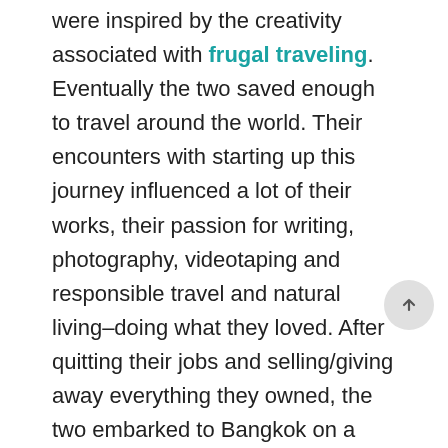were inspired by the creativity associated with frugal traveling. Eventually the two saved enough to travel around the world. Their encounters with starting up this journey influenced a lot of their works, their passion for writing, photography, videotaping and responsible travel and natural living–doing what they loved. After quitting their jobs and selling/giving away everything they owned, the two embarked to Bangkok on a one way ticket and never looked back. Across their journey, the two emphasize on places with good spirit and will where they can replenish their spirit and take great care of the body through healthy local foods and drinks. Nomad is Beautiful inspires others to open up their creative sides and do whatever they can with it. Opening up a new and unpredictable chapter in